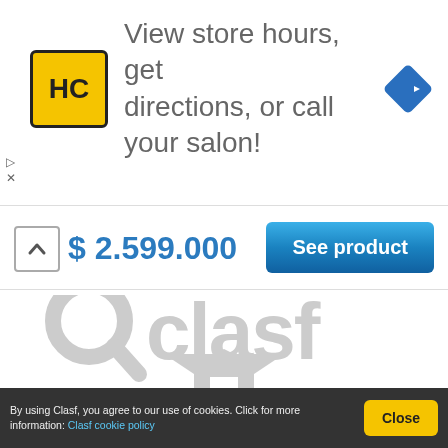[Figure (screenshot): Advertisement banner with HC logo (yellow square with HC text), text 'View store hours, get directions, or call your salon!', and a blue diamond navigation arrow icon on the right.]
$ 2.599.000
[Figure (screenshot): Blue 'See product' button]
[Figure (logo): Clasf watermark logo with magnifying glass icon and house/roof icon in light gray]
By using Clasf, you agree to our use of cookies. Click for more information: Clasf cookie policy